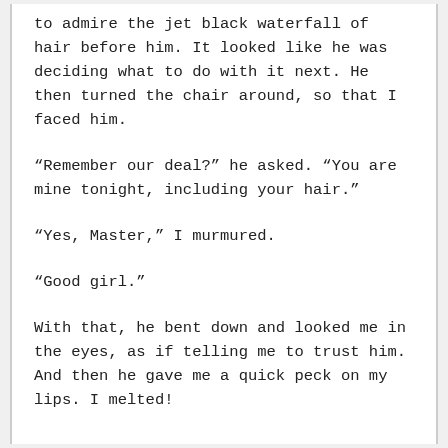to admire the jet black waterfall of hair before him. It looked like he was deciding what to do with it next. He then turned the chair around, so that I faced him.
“Remember our deal?” he asked. “You are mine tonight, including your hair.”
“Yes, Master,” I murmured.
“Good girl.”
With that, he bent down and looked me in the eyes, as if telling me to trust him. And then he gave me a quick peck on my lips. I melted!